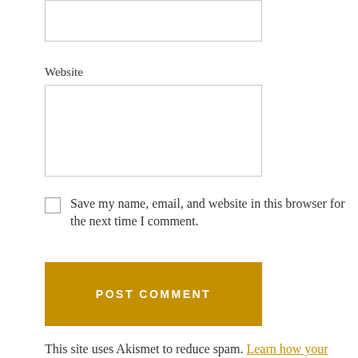Website
Save my name, email, and website in this browser for the next time I comment.
POST COMMENT
This site uses Akismet to reduce spam. Learn how your comment data is processed.